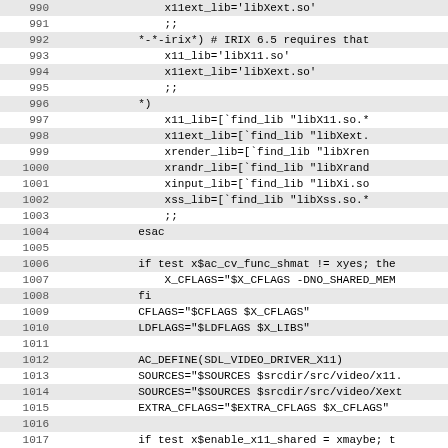Code listing lines 990-1021 showing shell script for X11 library configuration
| Line | Code |
| --- | --- |
| 990 |                 x11ext_lib='libXext.so' |
| 991 |                 ;; |
| 992 |             *-*-irix*) # IRIX 6.5 requires that |
| 993 |                 x11_lib='libX11.so' |
| 994 |                 x11ext_lib='libXext.so' |
| 995 |                 ;; |
| 996 |             *) |
| 997 |                 x11_lib=[`find_lib "libX11.so.* |
| 998 |                 x11ext_lib=[`find_lib "libXext. |
| 999 |                 xrender_lib=[`find_lib "libXren |
| 1000 |                 xrandr_lib=[`find_lib "libXrand |
| 1001 |                 xinput_lib=[`find_lib "libXi.so |
| 1002 |                 xss_lib=[`find_lib "libXss.so.* |
| 1003 |                 ;; |
| 1004 |             esac |
| 1005 |  |
| 1006 |             if test x$ac_cv_func_shmat != xyes; the |
| 1007 |                 X_CFLAGS="$X_CFLAGS -DNO_SHARED_MEM |
| 1008 |             fi |
| 1009 |             CFLAGS="$CFLAGS $X_CFLAGS" |
| 1010 |             LDFLAGS="$LDFLAGS $X_LIBS" |
| 1011 |  |
| 1012 |             AC_DEFINE(SDL_VIDEO_DRIVER_X11) |
| 1013 |             SOURCES="$SOURCES $srcdir/src/video/x11. |
| 1014 |             SOURCES="$SOURCES $srcdir/src/video/Xext |
| 1015 |             EXTRA_CFLAGS="$EXTRA_CFLAGS $X_CFLAGS" |
| 1016 |  |
| 1017 |             if test x$enable_x11_shared = xmaybe; t |
| 1018 |                 enable_x11_shared=$x11_symbols_priv |
| 1019 |             fi |
| 1020 |             if test x$have_loadso != xyes && \ |
| 1021 |                 test x$enable_x11_shared = xyes; the |